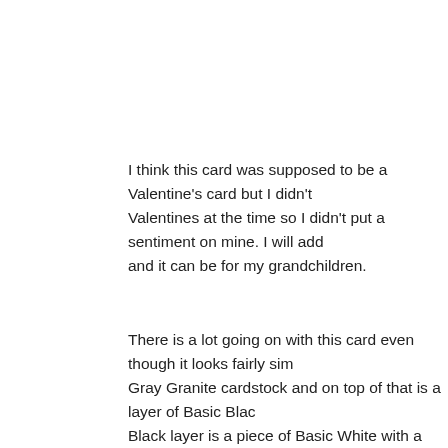I think this card was supposed to be a Valentine's card but I didn't Valentines at the time so I didn't put a sentiment on mine. I will add and it can be for my grandchildren.
There is a lot going on with this card even though it looks fairly sim Gray Granite cardstock and on top of that is a layer of Basic Blac Black layer is a piece of Basic White with a strip of DSP from the P package along the left edge.
On another piece of Basic White cardstock, we stamped two of the and Bolts stamp set using Tuxedo Black Memento ink. We coloure Blends and then fussy cut them out. (Susanne is a big fan of fussy Blends colours used are Smoky Slate, Gray Granite, Crumb Cake, Poppy Parade. We added the robots to the card front using dimen
We also stamped the hearts images randomly on the card front us Memento ink and then coloured them in using the Poppy Parade S the robots we added a strip of Basic Black cardstock so the robo air. To make the black cardstock more fun, we coloured it using a probably hard to see in the picture but trust me, it is there.
Thank you so much for stopping by today. I hope you enjoyed thi